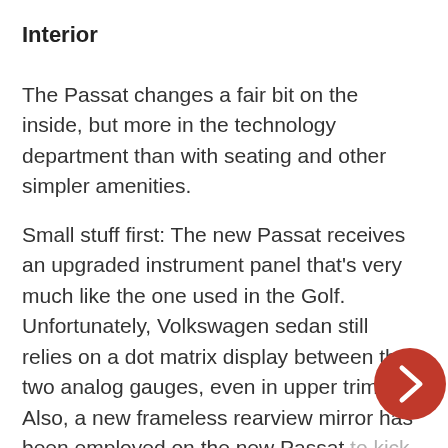Interior
The Passat changes a fair bit on the inside, but more in the technology department than with seating and other simpler amenities.
Small stuff first: The new Passat receives an upgraded instrument panel that’s very much like the one used in the Golf. Unfortunately, Volkswagen sedan still relies on a dot matrix display between the two analog gauges, even in upper trims. Also, a new frameless rearview mirror has been employed on the new Passat to kick class up a notch on higher trims. I’ve never been impressed by...